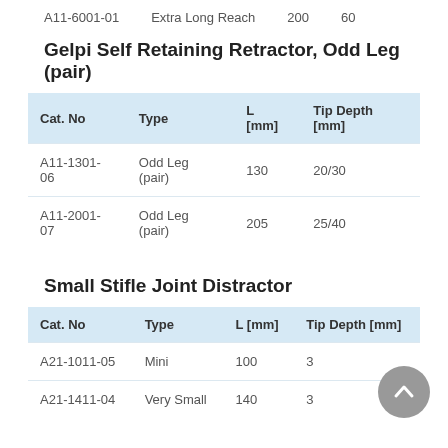A11-6001-01   Extra Long Reach   200   60
Gelpi Self Retaining Retractor, Odd Leg (pair)
| Cat. No | Type | L [mm] | Tip Depth [mm] |
| --- | --- | --- | --- |
| A11-1301-06 | Odd Leg (pair) | 130 | 20/30 |
| A11-2001-07 | Odd Leg (pair) | 205 | 25/40 |
Small Stifle Joint Distractor
| Cat. No | Type | L [mm] | Tip Depth [mm] |
| --- | --- | --- | --- |
| A21-1011-05 | Mini | 100 | 3 |
| A21-1411-04 | Very Small | 140 | 3 |